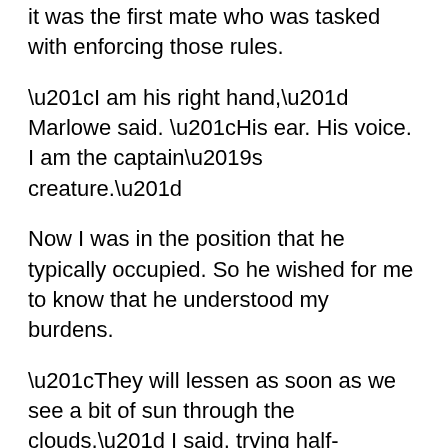it was the first mate who was tasked with enforcing those rules.
“I am his right hand,” Marlowe said. “His ear. His voice. I am the captain’s creature.”
Now I was in the position that he typically occupied. So he wished for me to know that he understood my burdens.
“They will lessen as soon as we see a bit of sun through the clouds,” I said, trying half-heartedly to jest or to comfort.
The words he spoke of the captain, the unreadable tone in which he spoke, inspired both suspicion and reassurance in me. It dizzied me to wonder if the first mate was speaking ill of the captain, or merely being honest. There was no crime in noting the captain’s faults, for all men had